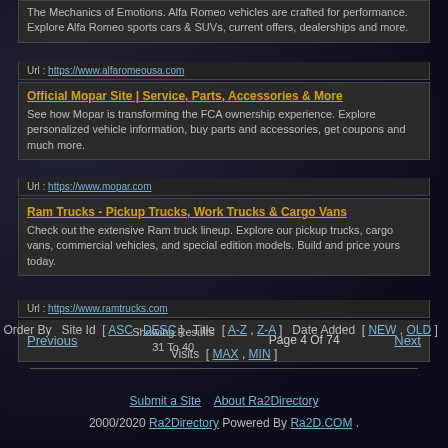The Mechanics of Emotions. Alfa Romeo vehicles are crafted for performance. Explore Alfa Romeo sports cars & SUVs, current offers, dealerships and more.
Url : https://www.alfaromeousa.com
Official Mopar Site | Service, Parts, Accessories & More
See how Mopar is transforming the FCA ownership experience. Explore personalized vehicle information, buy parts and accessories, get coupons and much more.
Url : https://www.mopar.com
Ram Trucks - Pickup Trucks, Work Trucks & Cargo Vans
Check out the extensive Ram truck lineup. Explore our pickup trucks, cargo vans, commercial vehicles, and special edition models. Build and price yours today.
Url : https://www.ramtrucks.com
Previous  Showing Results 31 To 40  Page 4 Of 74  Next
Order By   Site Id [ ASC , DESC ]   Title [ A-Z , Z-A ]   Date Added [ NEW , OLD ]   Visits [ MAX , MIN ]
Submit a Site   About Ra2Directory
2000/2020 Ra2Directory Powered By Ra2D.COM .